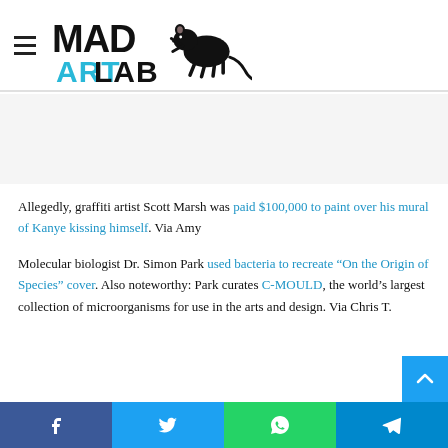Mad Art Lab logo and hamburger menu
Allegedly, graffiti artist Scott Marsh was paid $100,000 to paint over his mural of Kanye kissing himself. Via Amy
Molecular biologist Dr. Simon Park used bacteria to recreate "On the Origin of Species" cover. Also noteworthy: Park curates C-MOULD, the world's largest collection of microorganisms for use in the arts and design. Via Chris T.
Social share buttons: Facebook, Twitter, WhatsApp, Telegram